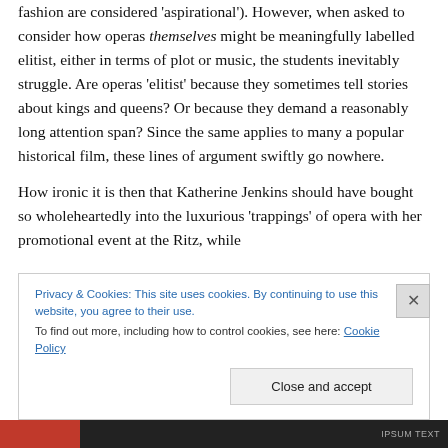fashion are considered 'aspirational'). However, when asked to consider how operas themselves might be meaningfully labelled elitist, either in terms of plot or music, the students inevitably struggle. Are operas 'elitist' because they sometimes tell stories about kings and queens? Or because they demand a reasonably long attention span? Since the same applies to many a popular historical film, these lines of argument swiftly go nowhere.
How ironic it is then that Katherine Jenkins should have bought so wholeheartedly into the luxurious 'trappings' of opera with her promotional event at the Ritz, while
Privacy & Cookies: This site uses cookies. By continuing to use this website, you agree to their use.
To find out more, including how to control cookies, see here: Cookie Policy
Close and accept